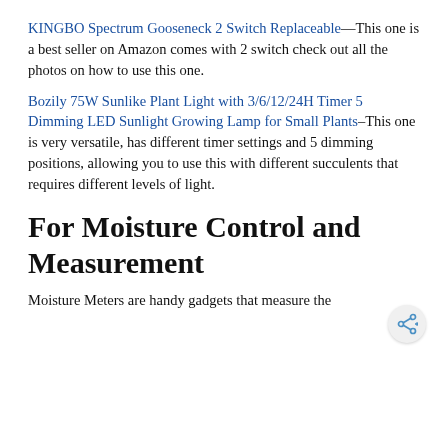KINGBO Spectrum Gooseneck 2 Switch Replaceable—This one is a best seller on Amazon comes with 2 switch check out all the photos on how to use this one.
Bozily 75W Sunlike Plant Light with 3/6/12/24H Timer 5 Dimming LED Sunlight Growing Lamp for Small Plants–This one is very versatile, has different timer settings and 5 dimming positions, allowing you to use this with different succulents that requires different levels of light.
For Moisture Control and Measurement
Moisture Meters are handy gadgets that measure the